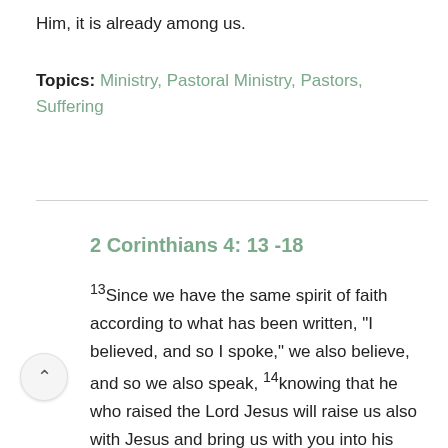Him, it is already among us.
Topics: Ministry, Pastoral Ministry, Pastors, Suffering
2 Corinthians 4: 13 -18
13Since we have the same spirit of faith according to what has been written, “I believed, and so I spoke,” we also believe, and so we also speak, 14knowing that he who raised the Lord Jesus will raise us also with Jesus and bring us with you into his presence. 15For it is all for your sake, so